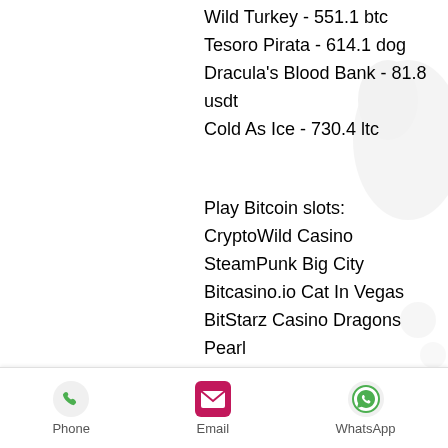Wild Turkey - 551.1 btc
Tesoro Pirata - 614.1 dog
Dracula's Blood Bank - 81.8 usdt
Cold As Ice - 730.4 ltc
Play Bitcoin slots:
CryptoWild Casino SteamPunk Big City
Bitcasino.io Cat In Vegas
BitStarz Casino Dragons Pearl
Sportsbet.io Pagoda of Fortune
mBit Casino Mega Fortune
Bspin.io Casino Marswood Party
CryptoGames Wild Turkey
mBit Casino Resident 3D
Playamo Casino Anotherland
BitcoinCasino.us Crystal Ball Red Hot Firepot
Phone | Email | WhatsApp